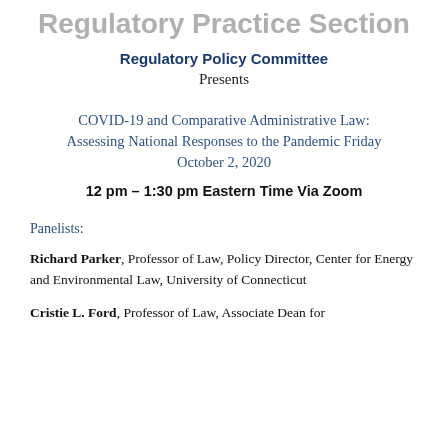Regulatory Practice Section
Regulatory Policy Committee
Presents
COVID-19 and Comparative Administrative Law: Assessing National Responses to the Pandemic Friday October 2, 2020
12 pm – 1:30 pm Eastern Time Via Zoom
Panelists:
Richard Parker, Professor of Law, Policy Director, Center for Energy and Environmental Law, University of Connecticut
Cristie L. Ford, Professor of Law, Associate Dean for